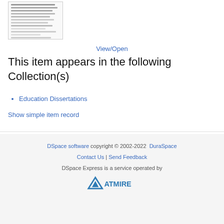[Figure (screenshot): Thumbnail image of a document page with small text lines]
View/Open
This item appears in the following Collection(s)
Education Dissertations
Show simple item record
DSpace software copyright © 2002-2022 DuraSpace | Contact Us | Send Feedback | DSpace Express is a service operated by ATMIRE